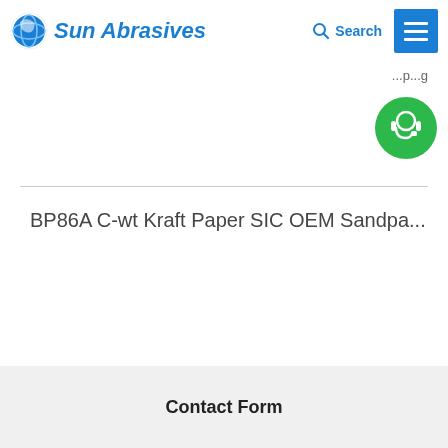Sun Abrasives
BP86A C-wt Kraft Paper SIC OEM Sandpa...
Contact Form